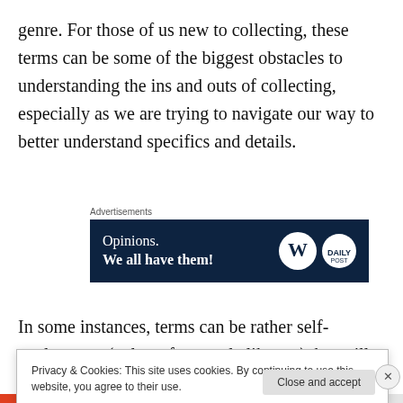genre. For those of us new to collecting, these terms can be some of the biggest obstacles to understanding the ins and outs of collecting, especially as we are trying to navigate our way to better understand specifics and details.
[Figure (other): Advertisement banner with dark navy background showing 'Opinions. We all have them!' text with WordPress logo and another circular logo on the right.]
In some instances, terms can be rather self-explanatory (at least for people like me), but still may not make a
Privacy & Cookies: This site uses cookies. By continuing to use this website, you agree to their use.
To find out more, including how to control cookies, see here: Cookie Policy